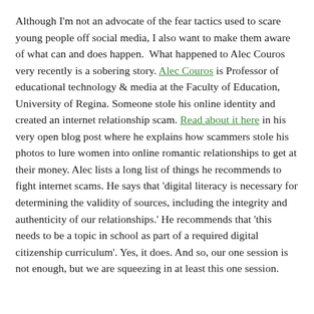Although I'm not an advocate of the fear tactics used to scare young people off social media, I also want to make them aware of what can and does happen.  What happened to Alec Couros very recently is a sobering story. Alec Couros is Professor of educational technology & media at the Faculty of Education, University of Regina. Someone stole his online identity and created an internet relationship scam. Read about it here in his very open blog post where he explains how scammers stole his photos to lure women into online romantic relationships to get at their money. Alec lists a long list of things he recommends to fight internet scams. He says that 'digital literacy is necessary for determining the validity of sources, including the integrity and authenticity of our relationships.' He recommends that 'this needs to be a topic in school as part of a required digital citizenship curriculum'. Yes, it does. And so, our one session is not enough, but we are squeezing in at least this one session.